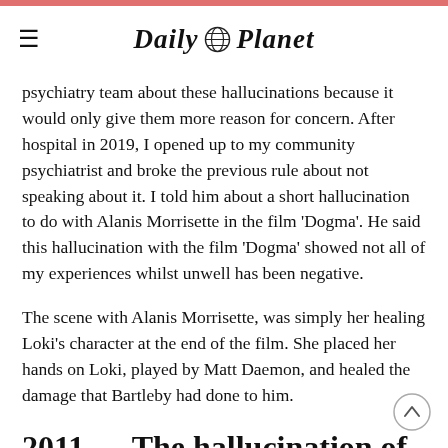Daily Planet
psychiatry team about these hallucinations because it would only give them more reason for concern. After hospital in 2019, I opened up to my community psychiatrist and broke the previous rule about not speaking about it. I told him about a short hallucination to do with Alanis Morrisette in the film 'Dogma'. He said this hallucination with the film 'Dogma' showed not all of my experiences whilst unwell has been negative.
The scene with Alanis Morrisette, was simply her healing Loki's character at the end of the film. She placed her hands on Loki, played by Matt Daemon, and healed the damage that Bartleby had done to him.
2011 — The hallucination of '12 Monkeys'